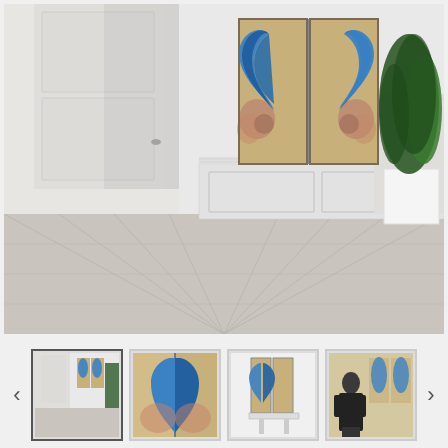[Figure (photo): A modern white room interior with light wood floor, white door on the left, a large plant on the right, and a diptych artwork of a blue heart on two canvases hung on the white paneled wall in the center.]
[Figure (photo): Thumbnail 1 (selected): Same room scene with blue heart diptych artwork on wall.]
[Figure (photo): Thumbnail 2: Close-up of the blue heart diptych painting showing teal/blue abstract heart shape on gold/pink background.]
[Figure (photo): Thumbnail 3: Side view of the diptych canvas artwork leaning against white background.]
[Figure (photo): Thumbnail 4: Artist (a person in black clothing) posing with the artwork in a gallery setting.]